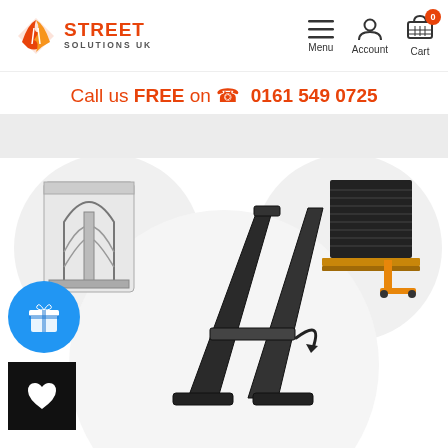[Figure (logo): Street Solutions UK logo with orange arrow/road icon and orange STREET text with SOLUTIONS UK subtitle]
[Figure (infographic): Navigation icons: hamburger menu (Menu), user account icon (Account), shopping cart with badge '0' (Cart)]
Call us FREE on 📞 0161 549 0725
[Figure (photo): Gray banner/breadcrumb area]
[Figure (photo): Product images: top-left thumbnail shows road gully/drain product cross-section; top-right thumbnail shows stacked black barriers on pallet with orange pallet jack; center large image shows black A-frame pedestrian barrier with curved arrow indicating fold/open action]
[Figure (illustration): Blue circular gift/rewards button with gift box icon]
[Figure (illustration): Black square button with white heart icon for wishlist]